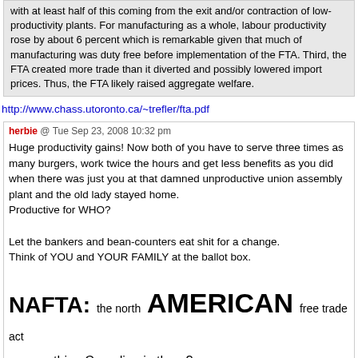with at least half of this coming from the exit and/or contraction of low-productivity plants. For manufacturing as a whole, labour productivity rose by about 6 percent which is remarkable given that much of manufacturing was duty free before implementation of the FTA. Third, the FTA created more trade than it diverted and possibly lowered import prices. Thus, the FTA likely raised aggregate welfare.
http://www.chass.utoronto.ca/~trefler/fta.pdf
herbie @ Tue Sep 23, 2008 10:32 pm
Huge productivity gains! Now both of you have to serve three times as many burgers, work twice the hours and get less benefits as you did when there was just you at that damned unproductive union assembly plant and the old lady stayed home.
Productive for WHO?

Let the bankers and bean-counters eat shit for a change.
Think of YOU and YOUR FAMILY at the ballot box.

NAFTA: the north AMERICAN free trade act

see anything Canadian in there?